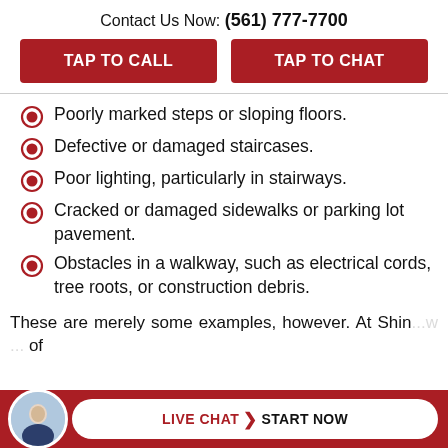Contact Us Now: (561) 777-7700
TAP TO CALL
TAP TO CHAT
Poorly marked steps or sloping floors.
Defective or damaged staircases.
Poor lighting, particularly in stairways.
Cracked or damaged sidewalks or parking lot pavement.
Obstacles in a walkway, such as electrical cords, tree roots, or construction debris.
These are merely some examples, however. At Shin... w ... of
LIVE CHAT  START NOW